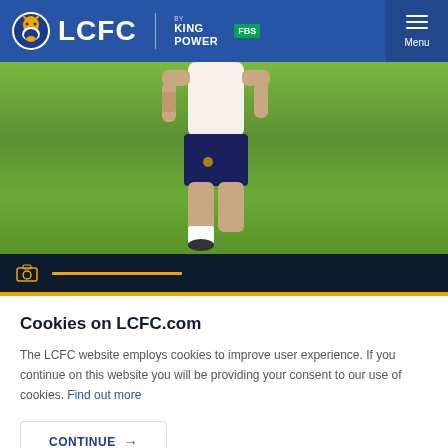[Figure (logo): LCFC (Leicester City FC) website header with blue background showing the fox badge logo, LCFC text, King Power FBS sponsor logos, and a hamburger Menu button on the right]
[Figure (photo): A football player in white training top and navy shorts walking on a green grass training pitch, photo cropped at chest level showing torso and legs]
[Figure (other): Dark navy photo caption bar with a yellow camera icon on left and a yellow horizontal line indicator]
Cookies on LCFC.com
The LCFC website employs cookies to improve user experience. If you continue on this website you will be providing your consent to our use of cookies. Find out more
CONTINUE →